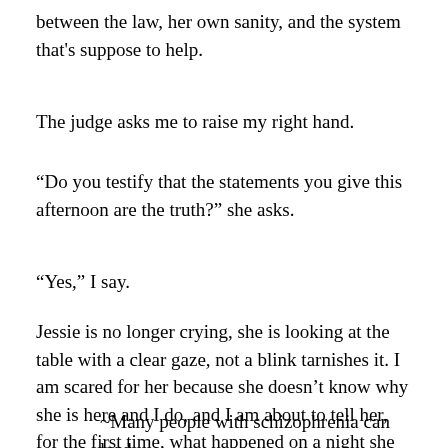between the law, her own sanity, and the system that's suppose to help.
The judge asks me to raise my right hand.
“Do you testify that the statements you give this afternoon are the truth?” she asks.
“Yes,” I say.
Jessie is no longer crying, she is looking at the table with a clear gaze, not a blink tarnishes it. I am scared for her because she doesn’t know why she is here and I do, and I am about to tell her, for the first time, what happened on a night she can’t remember.
~Many people with schizophrenia can lead